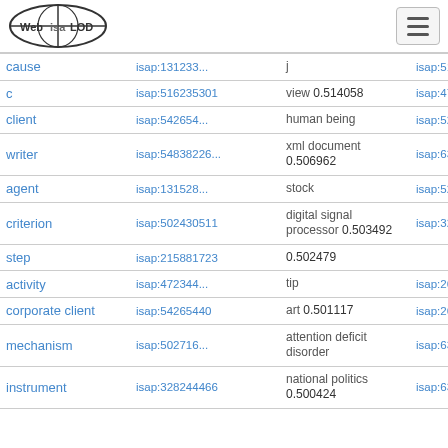Web isa LOD [logo] [hamburger menu]
| term | isap id | related term / score | isap id 2 |
| --- | --- | --- | --- |
| cause | isap:131233... | j | isap:5162134... |
| c | isap:516235301 | view 0.514058 | isap:4766310... |
| client | isap:542654... | human being | isap:5247924... |
| writer | isap:54838226... | xml document 0.506962 | isap:6333738... |
| agent | isap:131528... | stock | isap:5258074... |
| criterion | isap:502430511 | digital signal processor 0.503492 | isap:3228651... |
| step | isap:215881723 | 0.502479 |  |
| activity | isap:472344... | tip | isap:2645276... |
| corporate client | isap:54265440 | art 0.501117 | isap:2649751... |
| mechanism | isap:502716... | attention deficit disorder | isap:6351921... |
| instrument | isap:328244466 | national politics 0.500424 | isap:6335282... |